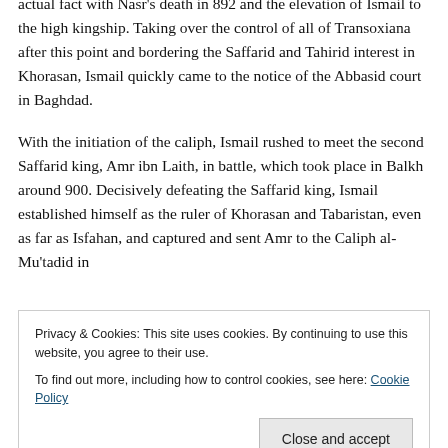actual fact with Nasr's death in 892 and the elevation of Ismail to the high kingship. Taking over the control of all of Transoxiana after this point and bordering the Saffarid and Tahirid interest in Khorasan, Ismail quickly came to the notice of the Abbasid court in Baghdad.
With the initiation of the caliph, Ismail rushed to meet the second Saffarid king, Amr ibn Laith, in battle, which took place in Balkh around 900. Decisively defeating the Saffarid king, Ismail established himself as the ruler of Khorasan and Tabaristan, even as far as Isfahan, and captured and sent Amr to the Caliph al-Mu'tadid in
Privacy & Cookies: This site uses cookies. By continuing to use this website, you agree to their use.
To find out more, including how to control cookies, see here: Cookie Policy
as well. The rest of Ismail's rule was spent in